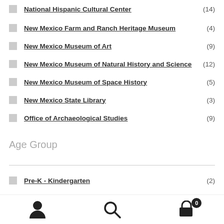National Hispanic Cultural Center (14)
New Mexico Farm and Ranch Heritage Museum (4)
New Mexico Museum of Art (9)
New Mexico Museum of Natural History and Science (12)
New Mexico Museum of Space History (5)
New Mexico State Library (3)
Office of Archaeological Studies (9)
Age Group
Pre-K - Kindergarten (2)
user / search / cart (0)